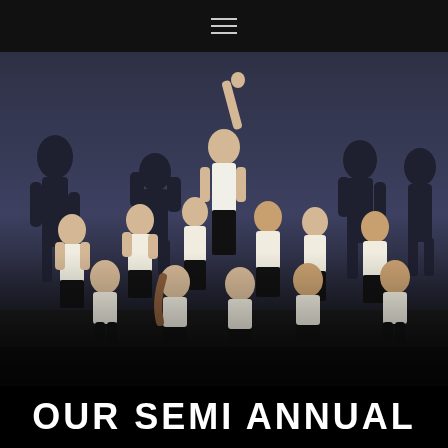[Figure (photo): A group of dancers on a dark stage performing a choreographed routine. Most dancers wear white tank tops and black pants with black caps, crouching or bowing with hands on heads. One central dancer stands tall with arm raised high. The background features large projected silhouettes of figures on a blue-grey wall.]
OUR SEMI ANNUAL